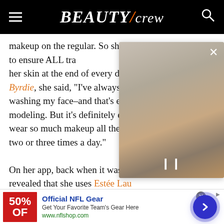BEAUTY/crew
makeup on the regular. So she's learned to double cleanse to ensure ALL tra her skin at the end of every day. In Byrdie, she said, "I've always been washing my face–and that's even modeling. But it's definitely enha wear so much makeup all the tim two or three times a day."
On her app, back when it was up revealed that she uses Estée Lau Balm as part of her nighttime ski
[Figure (screenshot): Blurred video overlay panel with pause button and close X button]
[Figure (infographic): Advertisement banner: Official NFL Gear - Get Your Favorite Team's Gear Here - www.nflshop.com - with red banner showing 50% OFF and navigation chevron button]